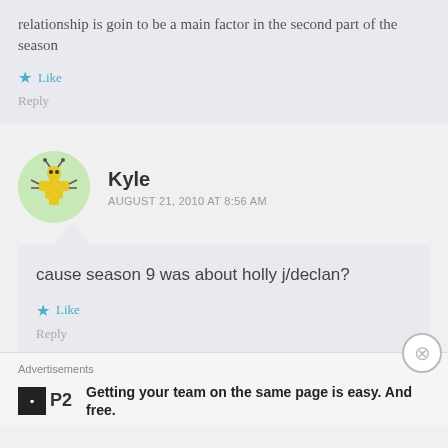relationship is goin to be a main factor in the second part of the season
Like
Reply
Kyle
AUGUST 21, 2010 AT 8:56 AM
cause season 9 was about holly j/declan?
Like
Reply
Advertisements
Getting your team on the same page is easy. And free.